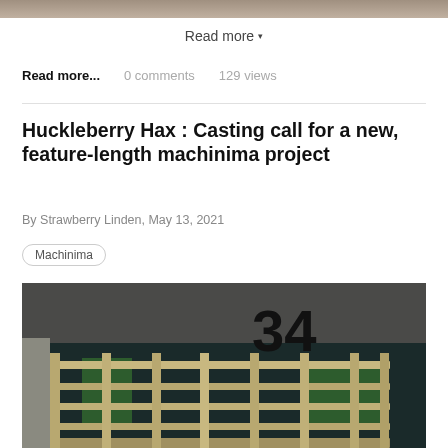[Figure (photo): Partial top image cropped at the top of the page]
Read more ▾
Read more...   0 comments   129 views
Huckleberry Hax : Casting call for a new, feature-length machinima project
By Strawberry Linden, May 13, 2021
Machinima
[Figure (photo): Building exterior with number 34 visible, wooden scaffolding or fence structure in front of a dark wall with green elements]